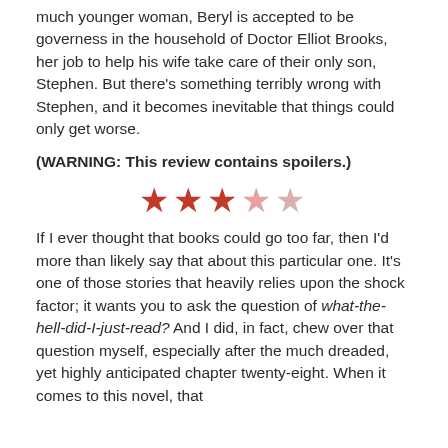much younger woman, Beryl is accepted to be governess in the household of Doctor Elliot Brooks, her job to help his wife take care of their only son, Stephen. But there's something terribly wrong with Stephen, and it becomes inevitable that things could only get worse.
(WARNING: This review contains spoilers.)
[Figure (other): Star rating: 3 out of 5 stars (three filled red stars, two faded/empty stars)]
If I ever thought that books could go too far, then I'd more than likely say that about this particular one. It's one of those stories that heavily relies upon the shock factor; it wants you to ask the question of what-the-hell-did-I-just-read? And I did, in fact, chew over that question myself, especially after the much dreaded, yet highly anticipated chapter twenty-eight. When it comes to this novel, that